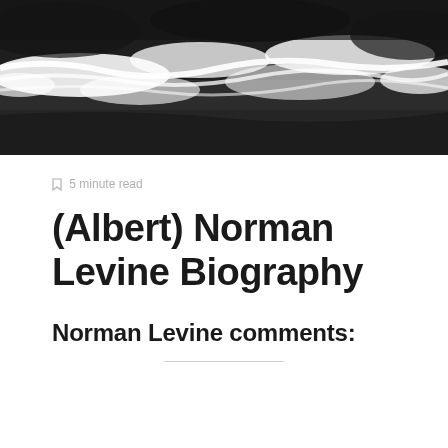[Figure (photo): Aerial or close-up photograph of dark ocean waves with white sea foam crashing, black and white toned image.]
🔖 5 minute read
(Albert) Norman Levine Biography
Norman Levine comments: